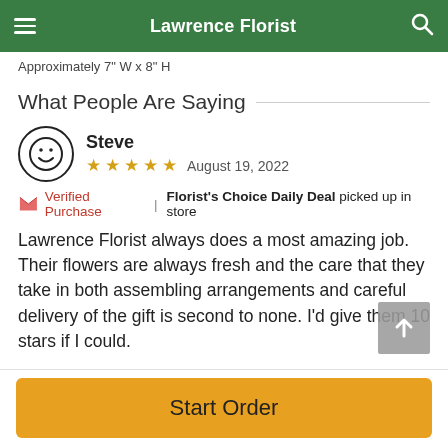Lawrence Florist
Approximately 7" W x 8" H
What People Are Saying
Steve  ★★★★★  August 19, 2022
Verified Purchase | Florist's Choice Daily Deal picked up in store
Lawrence Florist always does a most amazing job. Their flowers are always fresh and the care that they take in both assembling arrangements and careful delivery of the gift is second to none. I'd give them 10 stars if I could.
Start Order